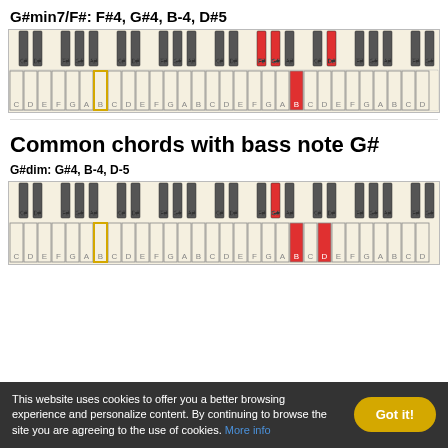G#min7/F#: F#4, G#4, B-4, D#5
[Figure (illustration): Piano keyboard diagram showing G#min7/F# chord with keys F#4, G#4, B-4, D#5 highlighted in red, and B in yellow]
Common chords with bass note G#
G#dim: G#4, B-4, D-5
[Figure (illustration): Piano keyboard diagram showing G#dim chord with keys G#4, B-4, D-5 highlighted in red and yellow]
This website uses cookies to offer you a better browsing experience and personalize content. By continuing to browse the site you are agreeing to the use of cookies. More info